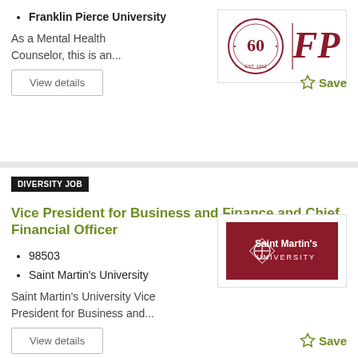Franklin Pierce University
As a Mental Health Counselor, this is an...
[Figure (logo): Franklin Pierce University 60th anniversary logo with circular seal and FP initials]
DIVERSITY JOB
Vice President for Business and Finance and Chief Financial Officer
98503
Saint Martin's University
Saint Martin's University Vice President for Business and...
[Figure (logo): Saint Martin's University logo — dark red banner with white text and diamond emblem]